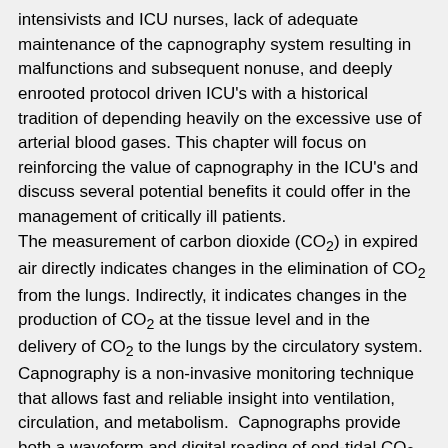intensivists and ICU nurses, lack of adequate maintenance of the capnography system resulting in malfunctions and subsequent nonuse, and deeply enrooted protocol driven ICU's with a historical tradition of depending heavily on the excessive use of arterial blood gases. This chapter will focus on reinforcing the value of capnography in the ICU's and discuss several potential benefits it could offer in the management of critically ill patients.
The measurement of carbon dioxide (CO2) in expired air directly indicates changes in the elimination of CO2 from the lungs. Indirectly, it indicates changes in the production of CO2 at the tissue level and in the delivery of CO2 to the lungs by the circulatory system.
Capnography is a non-invasive monitoring technique that allows fast and reliable insight into ventilation, circulation, and metabolism. Capnographs provide both a waveform and digital reading of end-tidal CO2 (ETCO2 - maximum concentration of carbon dioxide at the end of a breath).